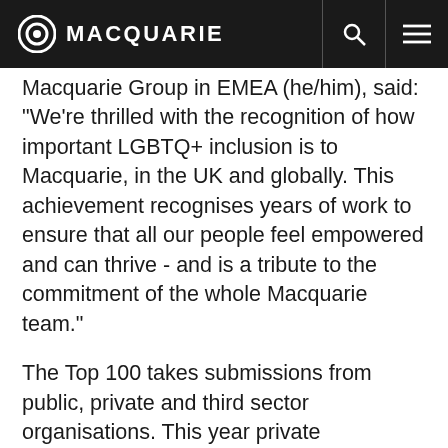MACQUARIE
Macquarie Group in EMEA (he/him), said: "We're thrilled with the recognition of how important LGBTQ+ inclusion is to Macquarie, in the UK and globally. This achievement recognises years of work to ensure that all our people feel empowered and can thrive - and is a tribute to the commitment of the whole Macquarie team."
The Top 100 takes submissions from public, private and third sector organisations. This year private organisations made up 48 of the Top 100, with 47 public organisations and 7 third sector organisations represented.